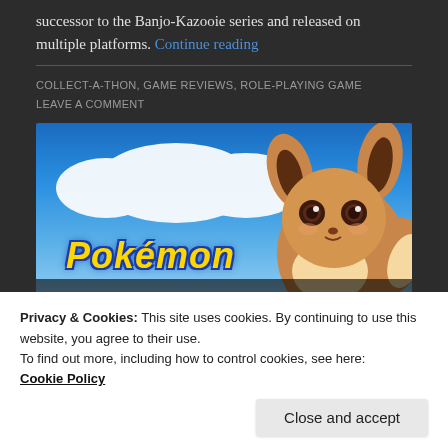successor to the Banjo-Kazooie series and released on multiple platforms. Continue reading
COLLECT-A-THON, GAME REVIEWS, ROLE-PLAYING GAME
LEAVE A COMMENT
[Figure (photo): Pokemon Let's Go Eevee game banner showing the Pokemon logo with Eevee character on a blue sky background with clouds]
Privacy & Cookies: This site uses cookies. By continuing to use this website, you agree to their use.
To find out more, including how to control cookies, see here: Cookie Policy
Close and accept